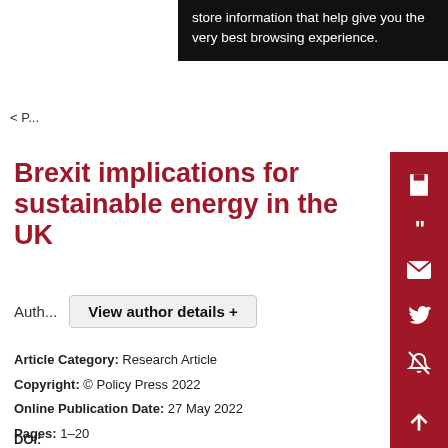[Figure (screenshot): Cookie consent banner overlay with dark background showing text: 'store information that help give you the very best browsing experience.']
< P...
Brexit implications for sustainable energy in the UK
Auth... View author details +
Article Category: Research Article
Copyright: © Policy Press 2022
Online Publication Date: 27 May 2022
Pages: 1–20
Publisher: Policy Press
Volume/Issue: Early View
DOI: